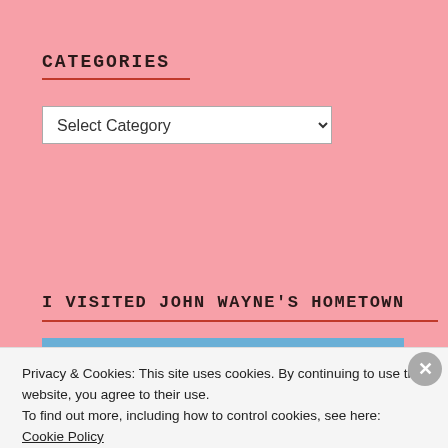CATEGORIES
[Figure (screenshot): A dropdown select widget labeled 'Select Category']
I VISITED JOHN WAYNE'S HOMETOWN
[Figure (photo): A statue of a cowboy/John Wayne wearing a wide-brimmed hat against a blue sky]
Privacy & Cookies: This site uses cookies. By continuing to use this website, you agree to their use.
To find out more, including how to control cookies, see here: Cookie Policy
Close and accept